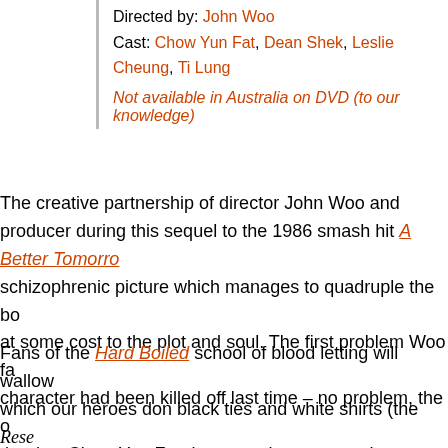Directed by: John Woo
Cast: Chow Yun Fat, Dean Shek, Leslie Cheung, Ti Lung

Not available in Australia on DVD (to our knowledge)
The creative partnership of director John Woo and produc... during this sequel to the 1986 smash hit A Better Tomorro... schizophrenic picture which manages to quadruple the bo... at some cost to the plot and soul. The first problem Woo fa... character had been killed off last time – no problem, the o... the day. Chow Yun Fat dons sunglasses, trenchcoat, toot... Leslie Cheung reprise their roles as brothers on different s... chews oranges, raw slabs of steak and the occasional bit ... is betrayed and subsequently unhinged.
Fans of the Hard Boiled school of blood letting will wallow... which our heroes don black ties and white shirts (the Rese... storm the bad guy's mansion without a formal invitation. C... red with a mixed assortment of automatic weapons and hi... including the celebrated stunt which came close to blowin...